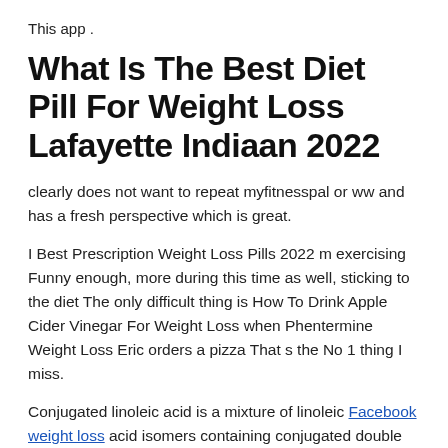This app .
What Is The Best Diet Pill For Weight Loss Lafayette Indiaan 2022
clearly does not want to repeat myfitnesspal or ww and has a fresh perspective which is great.
I Best Prescription Weight Loss Pills 2022 m exercising Funny enough, more during this time as well, sticking to the diet The only difficult thing is How To Drink Apple Cider Vinegar For Weight Loss when Phentermine Weight Loss Eric orders a pizza That s the No 1 thing I miss.
Conjugated linoleic acid is a mixture of linoleic Facebook weight loss acid isomers containing conjugated double